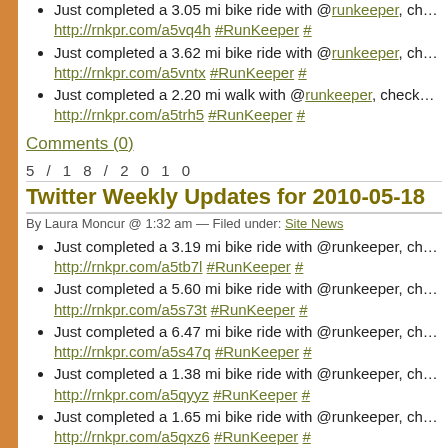Just completed a 3.05 mi bike ride with @runkeeper, ch… http://rnkpr.com/a5vq4h #RunKeeper #
Just completed a 3.62 mi bike ride with @runkeeper, ch… http://rnkpr.com/a5vntx #RunKeeper #
Just completed a 2.20 mi walk with @runkeeper, check… http://rnkpr.com/a5trh5 #RunKeeper #
Comments (0)
5/18/2010
Twitter Weekly Updates for 2010-05-18
By Laura Moncur @ 1:32 am — Filed under: Site News
Just completed a 3.19 mi bike ride with @runkeeper, ch… http://rnkpr.com/a5tb7l #RunKeeper #
Just completed a 5.60 mi bike ride with @runkeeper, ch… http://rnkpr.com/a5s73t #RunKeeper #
Just completed a 6.47 mi bike ride with @runkeeper, ch… http://rnkpr.com/a5s47q #RunKeeper #
Just completed a 1.38 mi bike ride with @runkeeper, ch… http://rnkpr.com/a5qyyz #RunKeeper #
Just completed a 1.65 mi bike ride with @runkeeper, ch… http://rnkpr.com/a5qxz6 #RunKeeper #
Just completed a 4.13 mi bike ride with @runkeeper, ch… http://rnkpr.com/a5phlz #RunKeeper #